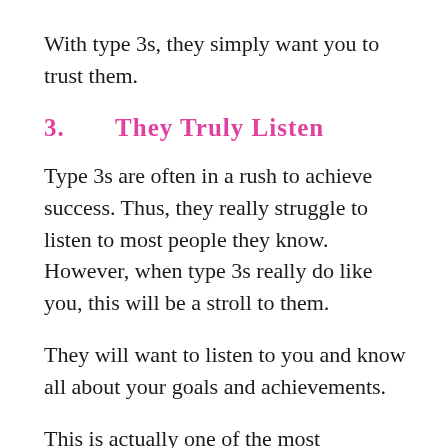With type 3s, they simply want you to trust them.
3.    They Truly Listen
Type 3s are often in a rush to achieve success. Thus, they really struggle to listen to most people they know. However, when type 3s really do like you, this will be a stroll to them.
They will want to listen to you and know all about your goals and achievements.
This is actually one of the most important issues for enneagram 3s. They want to be with someone who amplifies